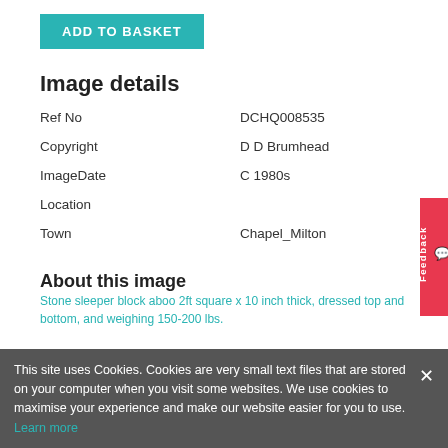ADD TO BASKET
Image details
| Field | Value |
| --- | --- |
| Ref No | DCHQ008535 |
| Copyright | D D Brumhead |
| ImageDate | C 1980s |
| Location |  |
| Town | Chapel_Milton |
About this image
Stone sleeper block aboo 2ft square x 10 inch thick, dressed top and bottom, and weighing 150-200 lbs.
This site uses Cookies. Cookies are very small text files that are stored on your computer when you visit some websites. We use cookies to maximise your experience and make our website easier for you to use. Learn more